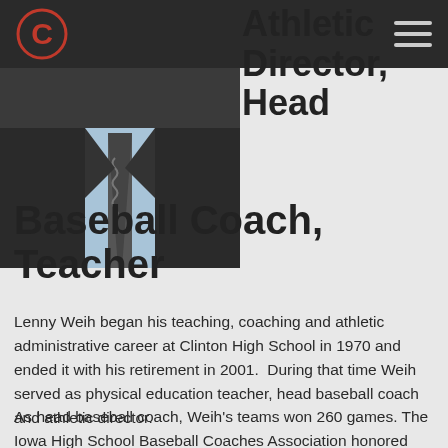[Figure (photo): Person in a suit and tie, photo cropped to chest]
Athletic Director, Head Baseball Coach, Teacher
Lenny Weih began his teaching, coaching and athletic administrative career at Clinton High School in 1970 and ended it with his retirement in 2001. During that time Weih served as physical education teacher, head baseball coach and athletic director.
As head baseball coach, Weih's teams won 260 games. The Iowa High School Baseball Coaches Association honored him with theuelle trop coaching...